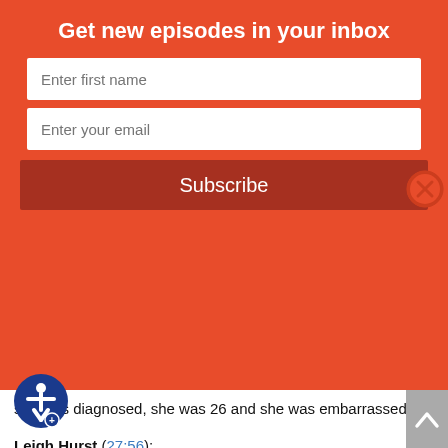Get new episodes in your inbox
she was diagnosed, she was 26 and she was embarrassed.
Leigh Hurst (27:56):
And then she unfortunately was rediagnosed nine years later with metastatic cancer at 45, which means it's terminal. And at that point she really became braver to start talking about it and she realized how much strength she got from sharing her story. And so I think when women put their stories out there they have no idea how many people they touch when they do it, because no one's gonna necessarily walk up to you and